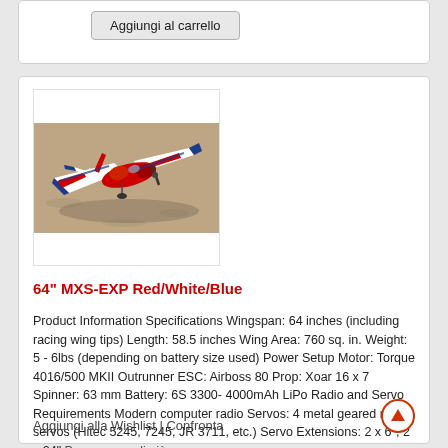Aggiungi al carrello
[Figure (photo): Red, white and blue RC airplane (64 inch MXS-EXP) photographed on ground from above at an angle, showing top surface of wings and fuselage with patriotic color scheme.]
64" MXS-EXP Red/White/Blue
Product Information Specifications Wingspan: 64 inches (including racing wing tips) Length: 58.5 inches Wing Area: 760 sq. in. Weight: 5 - 6lbs (depending on battery size used) Power Setup Motor: Torque 4016/500 MKII Outrunner ESC: Airboss 80 Prop: Xoar 16 x 7 Spinner: 63 mm Battery: 6S 3300- 4000mAh LiPo Radio and Servo Requirements Modern computer radio Servos: 4 metal geared mini servos (Hitec 5245, 7245, JR 3711, etc.) Servo Extensions: 2 x 6", 2 x 24" Per saperne di più
Aggiungi alla Wishlist | Confronta